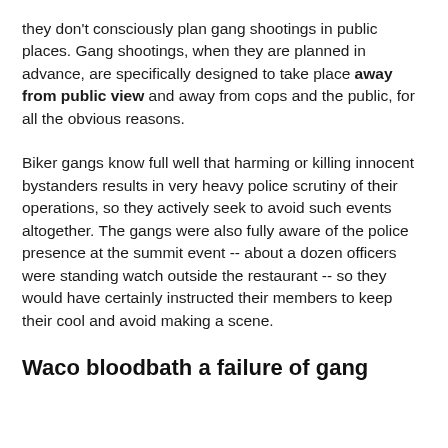they don't consciously plan gang shootings in public places. Gang shootings, when they are planned in advance, are specifically designed to take place away from public view and away from cops and the public, for all the obvious reasons.
Biker gangs know full well that harming or killing innocent bystanders results in very heavy police scrutiny of their operations, so they actively seek to avoid such events altogether. The gangs were also fully aware of the police presence at the summit event -- about a dozen officers were standing watch outside the restaurant -- so they would have certainly instructed their members to keep their cool and avoid making a scene.
Waco bloodbath a failure of gang